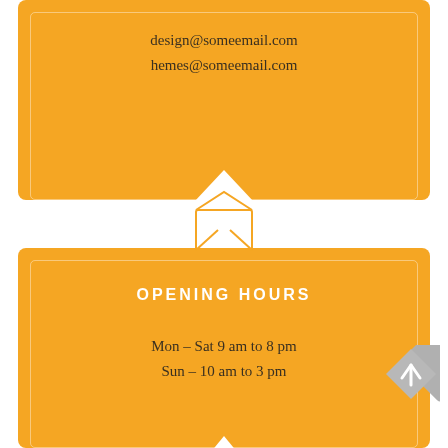design@someemail.com
hemes@someemail.com
[Figure (illustration): Open envelope icon with white triangular flap pointing upward, orange envelope body below, acting as a decorative divider between two cards]
OPENING HOURS
Mon – Sat 9 am to 8 pm
Sun – 10 am to 3 pm
[Figure (illustration): Grey diamond/arrow-up navigation button in lower right corner]